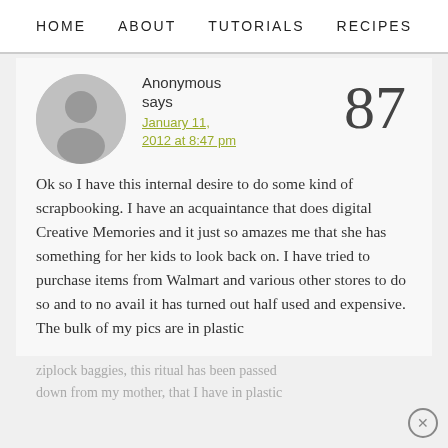HOME   ABOUT   TUTORIALS   RECIPES
Anonymous says January 11, 2012 at 8:47 pm   87
Ok so I have this internal desire to do some kind of scrapbooking. I have an acquaintance that does digital Creative Memories and it just so amazes me that she has something for her kids to look back on. I have tried to purchase items from Walmart and various other stores to do so and to no avail it has turned out half used and expensive. The bulk of my pics are in plastic
ziplock baggies, this ritual has been passed down from my mother, that I have in plastic